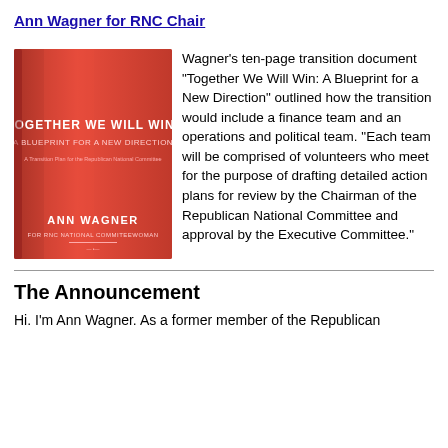Ann Wagner for RNC Chair
[Figure (photo): Red book cover titled 'Together We Will Win: A Blueprint for a New Direction' by Ann Wagner]
Wagner's ten-page transition document "Together We Will Win: A Blueprint for a New Direction" outlined how the transition would include a finance team and an operations and political team.  "Each team will be comprised of volunteers who meet for the purpose of drafting detailed action plans for review by the Chairman of the Republican National Committee and approval by the Executive Committee."
The Announcement
Hi. I'm Ann Wagner. As a former member of the Republican